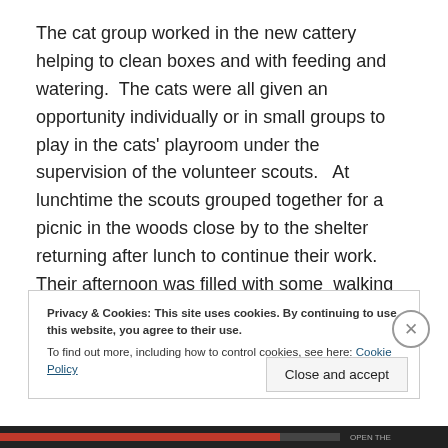The cat group worked in the new cattery helping to clean boxes and with feeding and watering.  The cats were all given an opportunity individually or in small groups to play in the cats' playroom under the supervision of the volunteer scouts.   At lunchtime the scouts grouped together for a picnic in the woods close by to the shelter returning after lunch to continue their work.   Their afternoon was filled with some  walking dogs in the street
Privacy & Cookies: This site uses cookies. By continuing to use this website, you agree to their use.
To find out more, including how to control cookies, see here: Cookie Policy
Close and accept